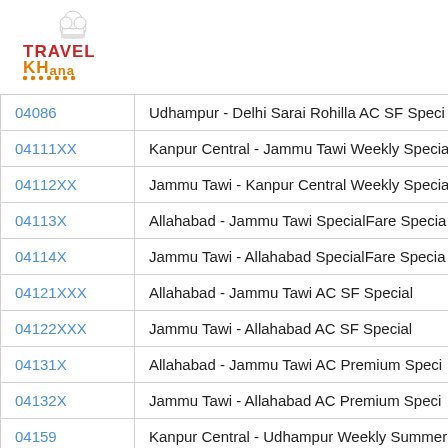[Figure (logo): Travel Khana logo with chef hat icon, 'TRAVEL' in red and 'KHana' in orange, with orange dots underline]
| Code | Train Name |
| --- | --- |
| 04086 | Udhampur - Delhi Sarai Rohilla AC SF Speci |
| 04111XX | Kanpur Central - Jammu Tawi Weekly Speci |
| 04112XX | Jammu Tawi - Kanpur Central Weekly Speci |
| 04113X | Allahabad - Jammu Tawi SpecialFare Specia |
| 04114X | Jammu Tawi - Allahabad SpecialFare Specia |
| 04121XXX | Allahabad - Jammu Tawi AC SF Special |
| 04122XXX | Jammu Tawi - Allahabad AC SF Special |
| 04131X | Allahabad - Jammu Tawi AC Premium Speci |
| 04132X | Jammu Tawi - Allahabad AC Premium Speci |
| 04159 | Kanpur Central - Udhampur Weekly Summer |